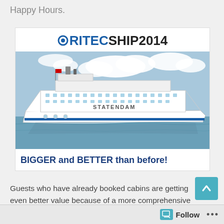Happy Hours.
[Figure (photo): RITECSHIP2014 advertisement banner featuring a cruise ship named STATENDAM on water with blue sky and clouds, with tagline 'BIGGER and BETTER than before!']
Guests who have already booked cabins are getting even better value because of a more comprehensive package. The MPS Statendam is bigger and better but prices for cabins, including all the extras shown below, remain the same.
Follow ...